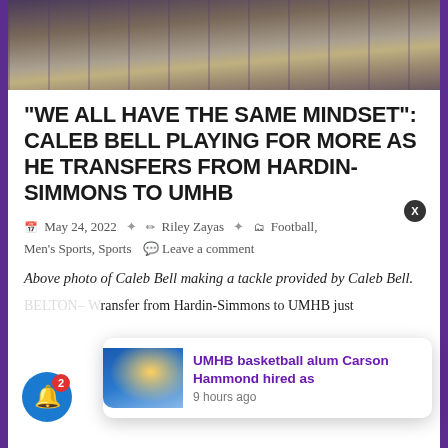[Figure (photo): Cropped photo of football players sitting on stadium steps, partial view of legs and feet]
“WE ALL HAVE THE SAME MINDSET”: CALEB BELL PLAYING FOR MORE AS HE TRANSFERS FROM HARDIN-SIMMONS TO UMHB
May 24, 2022 • Riley Zayas • Football, Men's Sports, Sports • Leave a comment
Above photo of Caleb Bell making a tackle provided by Caleb Bell.
BELTON- W... transfer from Hardin-Simmons to UMHB just
[Figure (photo): UMHB basketball thumbnail image used in push notification]
UMHB basketball alum Carson Hammond hired as
9 hours ago